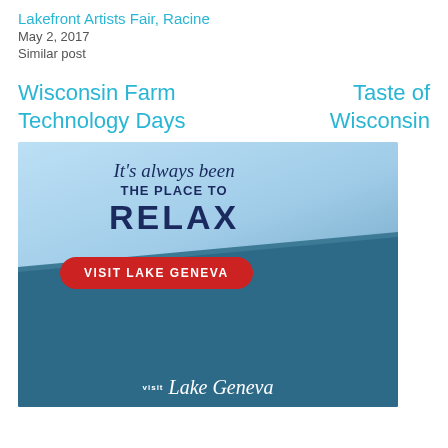Lakefront Artists Fair, Racine
May 2, 2017
Similar post
Wisconsin Farm Technology Days
Taste of Wisconsin
[Figure (photo): Advertisement for Visit Lake Geneva showing a woman relaxing in the lake with a boat in the background. Text reads: "It's always been THE PLACE TO RELAX" with a red button saying "VISIT LAKE GENEVA" and a Visit Lake Geneva logo at the bottom.]